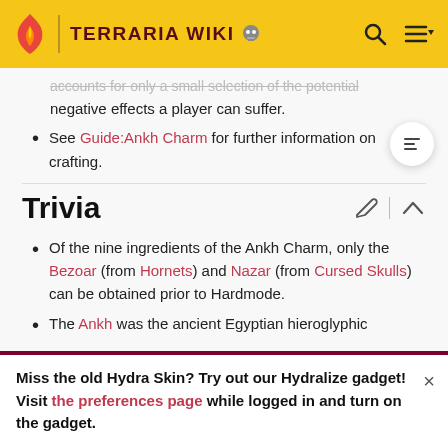TERRARIA WIKI
accounts for only a small selection of the potential negative effects a player can suffer.
See Guide:Ankh Charm for further information on crafting.
Trivia
Of the nine ingredients of the Ankh Charm, only the Bezoar (from Hornets) and Nazar (from Cursed Skulls) can be obtained prior to Hardmode.
The Ankh was the ancient Egyptian hieroglyphic
Miss the old Hydra Skin? Try out our Hydralize gadget! Visit the preferences page while logged in and turn on the gadget.